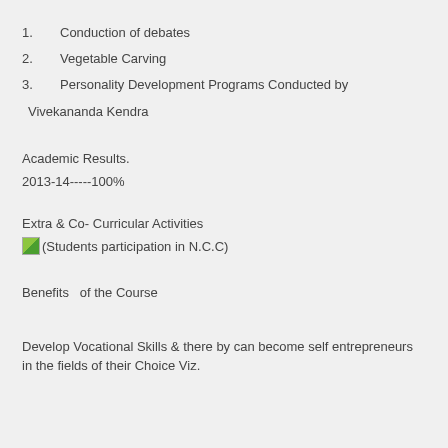1.        Conduction of debates
2.        Vegetable Carving
3.        Personality Development Programs Conducted by Vivekananda Kendra
Academic Results.
2013-14-----100%
Extra & Co- Curricular Activities
(Students participation in N.C.C)
Benefits  of the Course
Develop Vocational Skills & there by can become self entrepreneurs in the fields of their Choice Viz.